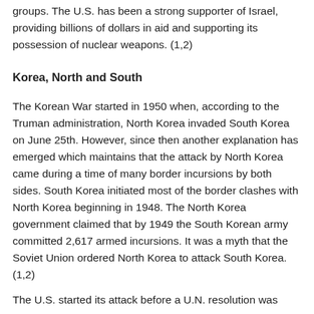groups. The U.S. has been a strong supporter of Israel, providing billions of dollars in aid and supporting its possession of nuclear weapons. (1,2)
Korea, North and South
The Korean War started in 1950 when, according to the Truman administration, North Korea invaded South Korea on June 25th. However, since then another explanation has emerged which maintains that the attack by North Korea came during a time of many border incursions by both sides. South Korea initiated most of the border clashes with North Korea beginning in 1948. The North Korea government claimed that by 1949 the South Korean army committed 2,617 armed incursions. It was a myth that the Soviet Union ordered North Korea to attack South Korea. (1,2)
The U.S. started its attack before a U.N. resolution was